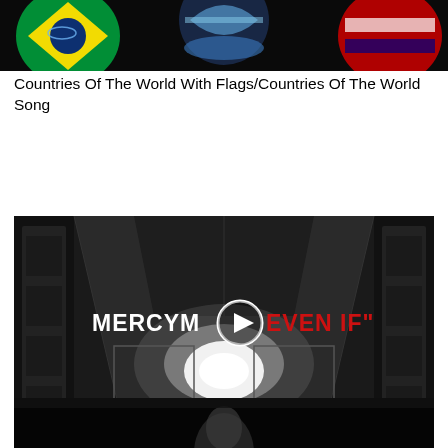[Figure (screenshot): Video thumbnail showing flags of various countries including Brazil on a dark background]
Countries Of The World With Flags/Countries Of The World Song
[Figure (screenshot): Music video thumbnail for MercyMe 'Even If' - dark corridor scene with play button overlay and vevo logo]
MercyMe - Even If (Official Lyric Video)
[Figure (screenshot): Partial video thumbnail with dark background showing partial figure]